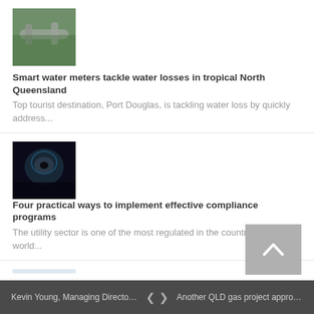[Figure (photo): Thumbnail image of water pipes/meters]
Smart water meters tackle water losses in tropical North Queensland
Top tourist destination, Port Douglas, is tackling water loss by quickly address...
[Figure (photo): Thumbnail dark image, appears to show a person in close-up]
Four practical ways to implement effective compliance programs
The utility sector is one of the most regulated in the country, if not the world...
[Figure (photo): Thumbnail image of a construction worker in a hard hat]
Delivering new capital projects is only getting riskier – make it predictable
Power and energy projects are often large, complex and multi-discipline, and can...
Kevin Young, Managing Director Of Sydn...    < >    Another QLD gas project approved